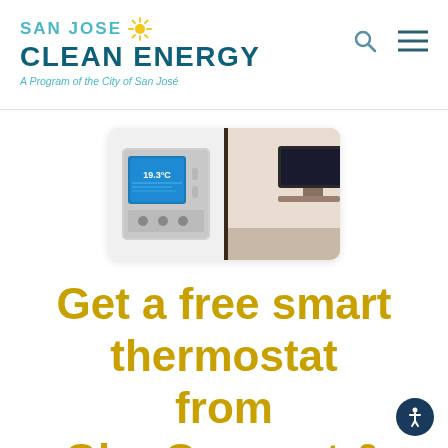SAN JOSE CLEAN ENERGY — A Program of the City of San José
[Figure (photo): A smart thermostat with a blue touchscreen display mounted on a wall, with a blurred modern living room interior in the background.]
Get a free smart thermostat from OhmConnect &